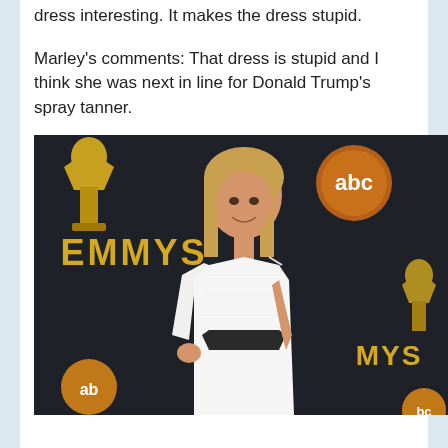dress interesting. It makes the dress stupid.
Marley's comments: That dress is stupid and I think she was next in line for Donald Trump's spray tanner.
[Figure (photo): Photo of a woman in a white asymmetrical one-shoulder dress with cutout at the waist, posing at the Emmy Awards red carpet. Background shows dark backdrop with 'EMMYS' text in gold, ABC logo, and Emmy statuette graphics.]